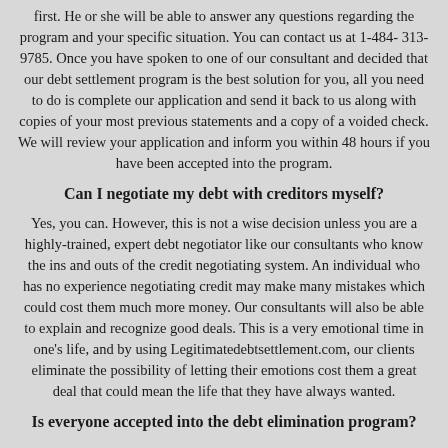first. He or she will be able to answer any questions regarding the program and your specific situation. You can contact us at 1-484-313-9785. Once you have spoken to one of our consultant and decided that our debt settlement program is the best solution for you, all you need to do is complete our application and send it back to us along with copies of your most previous statements and a copy of a voided check. We will review your application and inform you within 48 hours if you have been accepted into the program.
Can I negotiate my debt with creditors myself?
Yes, you can. However, this is not a wise decision unless you are a highly-trained, expert debt negotiator like our consultants who know the ins and outs of the credit negotiating system. An individual who has no experience negotiating credit may make many mistakes which could cost them much more money. Our consultants will also be able to explain and recognize good deals. This is a very emotional time in one’s life, and by using Legitimatedebtsettlement.com, our clients eliminate the possibility of letting their emotions cost them a great deal that could mean the life that they have always wanted.
Is everyone accepted into the debt elimination program?